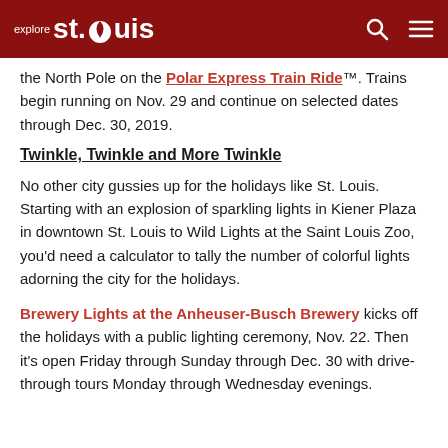explore st. louis
the North Pole on the Polar Express Train Ride™. Trains begin running on Nov. 29 and continue on selected dates through Dec. 30, 2019.
Twinkle, Twinkle and More Twinkle
No other city gussies up for the holidays like St. Louis. Starting with an explosion of sparkling lights in Kiener Plaza in downtown St. Louis to Wild Lights at the Saint Louis Zoo, you'd need a calculator to tally the number of colorful lights adorning the city for the holidays.
Brewery Lights at the Anheuser-Busch Brewery kicks off the holidays with a public lighting ceremony, Nov. 22. Then it's open Friday through Sunday through Dec. 30 with drive-through tours Monday through Wednesday evenings.